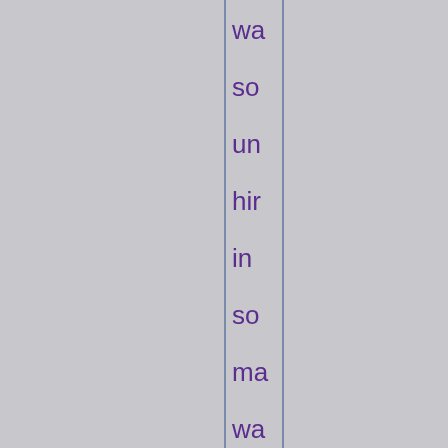wa so un hir in so ma wa the it all fel un It too hir aw